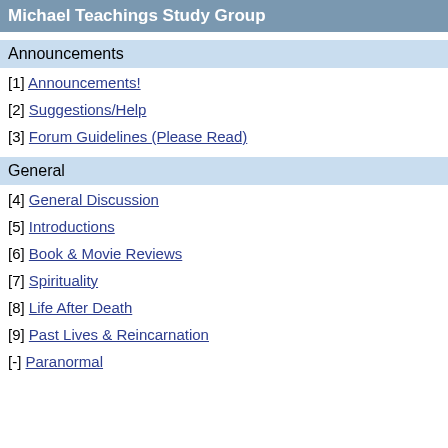Michael Teachings Study Group
Announcements
[1] Announcements!
[2] Suggestions/Help
[3] Forum Guidelines (Please Read)
General
[4] General Discussion
[5] Introductions
[6] Book & Movie Reviews
[7] Spirituality
[8] Life After Death
[9] Past Lives & Reincarnation
[-] Paranormal